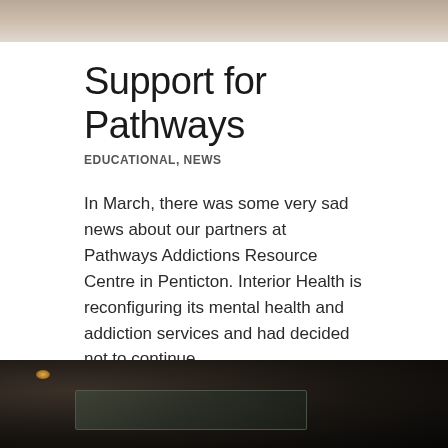[Figure (photo): Top portion of a photo, light-toned background with blurred objects]
Support for Pathways
EDUCATIONAL, NEWS
In March, there was some very sad news about our partners at Pathways Addictions Resource Centre in Penticton. Interior Health is reconfiguring its mental health and addiction services and had decided not to continue...
April 29, 2021
[Figure (photo): Bottom photo showing a dark scene with a glowing light and what appears to be a glass or transparent box object]